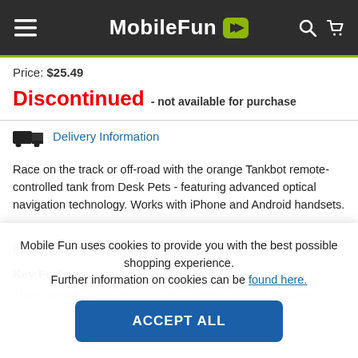MobileFun
Price: $25.49
Discontinued - not available for purchase
Delivery Information
Race on the track or off-road with the orange Tankbot remote-controlled tank from Desk Pets - featuring advanced optical navigation technology. Works with iPhone and Android handsets.
Planning a trip? Shop for Summer Travel Accessories *
Key Features
Three control modes demonstrate Tankbot's unique features
Mobile Fun uses cookies to provide you with the best possible shopping experience.
Further information on cookies can be found here.